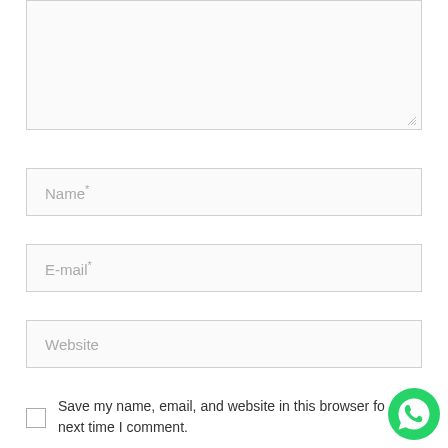[Figure (screenshot): Empty textarea input field with resize handle at bottom-right corner]
Name*
E-mail*
Website
Save my name, email, and website in this browser for next time I comment.
[Figure (logo): WhatsApp green circular logo icon with phone handset]